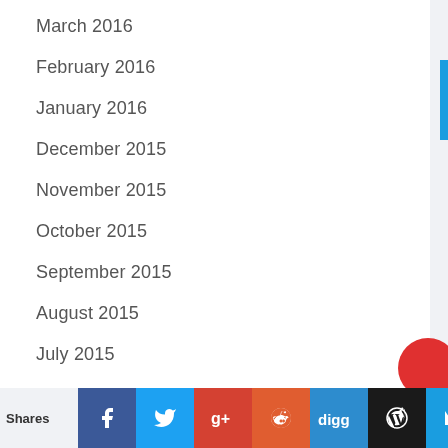March 2016
February 2016
January 2016
December 2015
November 2015
October 2015
September 2015
August 2015
July 2015
June 2015
April 2015